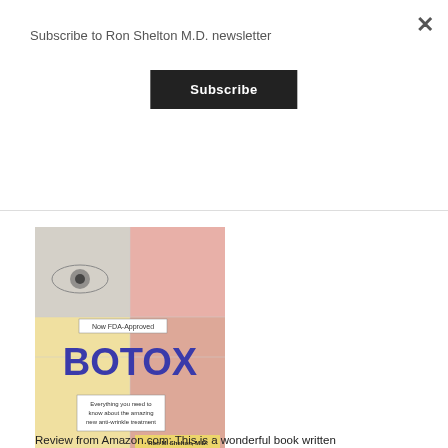Subscribe to Ron Shelton M.D. newsletter
Subscribe
[Figure (illustration): Book cover of 'BOTOX' by Ron M. Shelton, M.D. and Terry Malloy. Features faces close-up (eye, nose, mouth areas) in pastel colors with blue large text 'BOTOX', a label 'Now FDA-Approved', and subtitle 'Everything you need to know about the amazing new anti-wrinkle treatment'.]
Review from Amazon.com: This is a wonderful book written